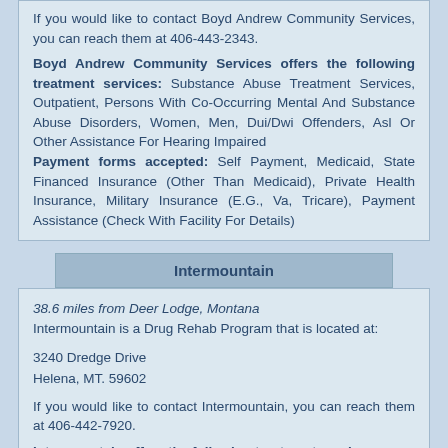If you would like to contact Boyd Andrew Community Services, you can reach them at 406-443-2343.
Boyd Andrew Community Services offers the following treatment services: Substance Abuse Treatment Services, Outpatient, Persons With Co-Occurring Mental And Substance Abuse Disorders, Women, Men, Dui/Dwi Offenders, Asl Or Other Assistance For Hearing Impaired
Payment forms accepted: Self Payment, Medicaid, State Financed Insurance (Other Than Medicaid), Private Health Insurance, Military Insurance (E.G., Va, Tricare), Payment Assistance (Check With Facility For Details)
Intermountain
38.6 miles from Deer Lodge, Montana
Intermountain is a Drug Rehab Program that is located at:
3240 Dredge Drive
Helena, MT. 59602
If you would like to contact Intermountain, you can reach them at 406-442-7920.
Intermountain offers the following treatment services: Outpatient, Persons With Co-Occurring Mental And Substance